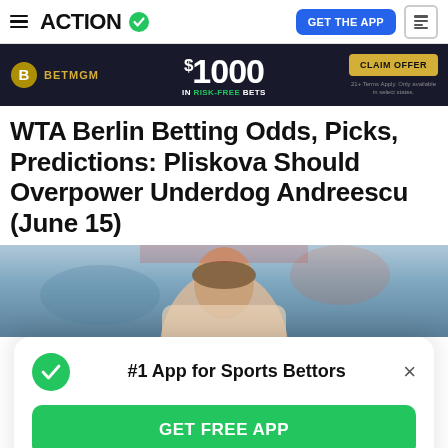ACTION (logo with checkmark) | GET THE APP
[Figure (infographic): BetMGM advertisement banner: $1000 IN RISK-FREE BETS, CLAIM OFFER button]
WTA Berlin Betting Odds, Picks, Predictions: Pliskova Should Overpower Underdog Andreescu (June 15)
[Figure (photo): Close-up photo of a female tennis player with hair pulled back, blurred stadium background]
#1 App for Sports Bettors
GET FREE APP